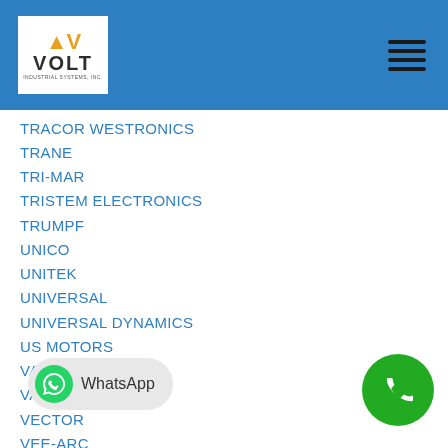VOLT Industrial Systems logo and navigation
TRACOR WESTRONICS
TRANE
TRI-MAR
TRISTEM ELECTRONICS
TRUMPF
UNICO
UNITEK
UNIVERSAL
UNIVERSAL DYNAMICS
US MOTORS
VACON
VARIAN
VECTOR
VEE-ARC
VERSAPPLY
VERSATROL
VEXTA
VIDEOJET
VOLKMAN
WARD